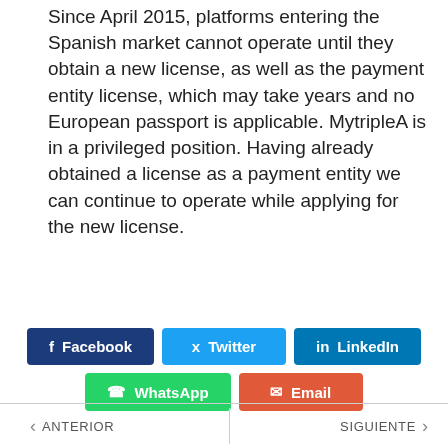Since April 2015, platforms entering the Spanish market cannot operate until they obtain a new license, as well as the payment entity license, which may take years and no European passport is applicable. MytripleA is in a privileged position. Having already obtained a license as a payment entity we can continue to operate while applying for the new license.
[Figure (infographic): Social media share buttons: Facebook, Twitter, LinkedIn, WhatsApp, Email]
ANTERIOR | SIGUIENTE